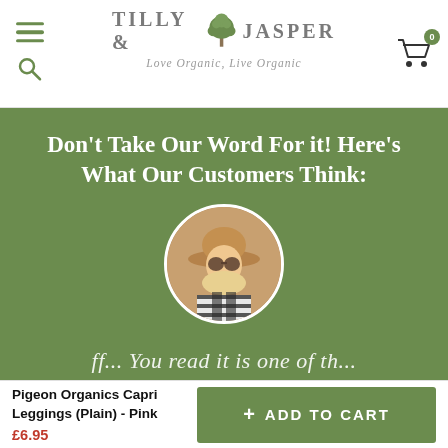[Figure (logo): Tilly & Jasper logo with tree illustration and tagline 'Love Organic, Live Organic']
Don't Take Our Word For it! Here's What Our Customers Think:
[Figure (photo): Circular avatar photo of a person wearing a wide-brim hat and round sunglasses]
ff... You read it is one of th...
Pigeon Organics Capri Leggings (Plain) - Pink
£6.95
+ ADD TO CART